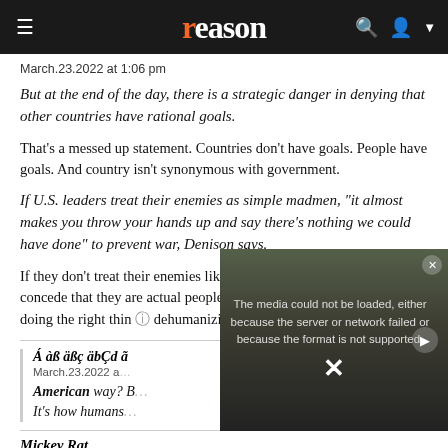reason
March.23.2022 at 1:06 pm
But at the end of the day, there is a strategic danger in denying that other countries have rational goals.
That's a messed up statement. Countries don't have goals. People have goals. And country isn't synonymous with government.
If U.S. leaders treat their enemies as simple madmen, "it almost makes you throw your hands up and say there's nothing we could have done" to prevent war, Denison says.
If they don't treat their enemies like madmen then they'll be forced to concede that they are actual people who more than likely think they're doing the right thing. So maybe consider not to dehumanizing anyo...
[Figure (screenshot): Video player overlay showing error message: 'The media could not be loaded, either because the server or network failed or because the format is not supported.' with an X close button and play button.]
Á àß äßç äbÇd ã...
March.23.2022 a...
American way? B... It's how humans...
Mickey Rat